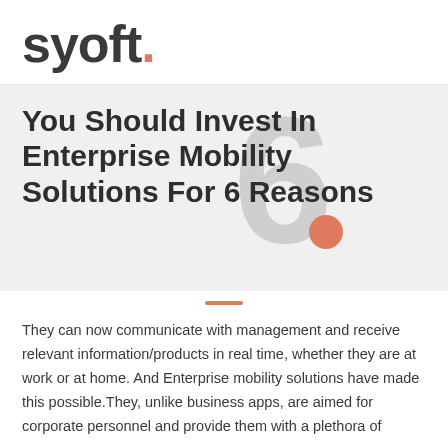[Figure (logo): Syoft logo: bold dark text 'syoft' with an orange dot after the period]
You Should Invest In Enterprise Mobility Solutions For 6 Reasons
[Figure (illustration): Large faint '6' watermark with an orange dot, overlaid on the hero title area]
They can now communicate with management and receive relevant information/products in real time, whether they are at work or at home. And Enterprise mobility solutions have made this possible.They, unlike business apps, are aimed for corporate personnel and provide them with a plethora of